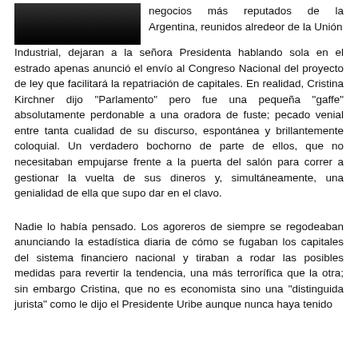[Figure (photo): Partial view of a dark photograph, likely a portrait, cropped at top of page]
negocios más reputados de la Argentina, reunidos alredeor de la Unión Industrial, dejaran a la señora Presidenta hablando sola en el estrado apenas anunció el envío al Congreso Nacional del proyecto de ley que facilitará la repatriación de capitales. En realidad, Cristina Kirchner dijo "Parlamento" pero fue una pequeña "gaffe" absolutamente perdonable a una oradora de fuste; pecado venial entre tanta cualidad de su discurso, espontánea y brillantemente coloquial. Un verdadero bochorno de parte de ellos, que no necesitaban empujarse frente a la puerta del salón para correr a gestionar la vuelta de sus dineros y, simultáneamente, una genialidad de ella que supo dar en el clavo.
Nadie lo había pensado. Los agoreros de siempre se regodeaban anunciando la estadística diaria de cómo se fugaban los capitales del sistema financiero nacional y tiraban a rodar las posibles medidas para revertir la tendencia, una más terrorífica que la otra; sin embargo Cristina, que no es economista sino una "distinguida jurista" como le dijo el Presidente Uribe aunque nunca haya tenido